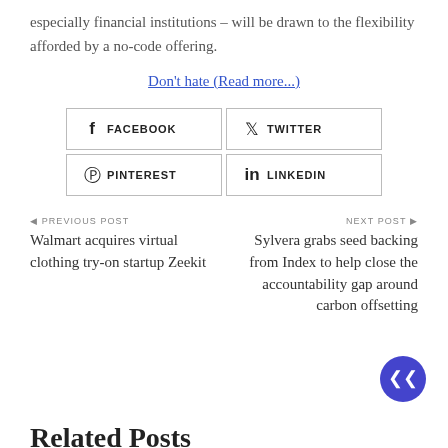especially financial institutions – will be drawn to the flexibility afforded by a no-code offering.
Don't hate (Read more...)
[Figure (infographic): Social share buttons grid: Facebook, Twitter, Pinterest, LinkedIn]
◄ PREVIOUS POST
Walmart acquires virtual clothing try-on startup Zeekit
NEXT POST ►
Sylvera grabs seed backing from Index to help close the accountability gap around carbon offsetting
Related Posts